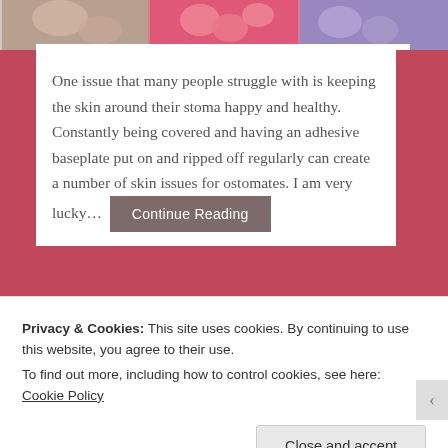[Figure (photo): Three floral/lifestyle images in a horizontal strip at the top of the page — left shows a person with flowers/tattoo, center shows pink carnations, right shows a purple/blue image with flowers]
One issue that many people struggle with is keeping the skin around their stoma happy and healthy. Constantly being covered and having an adhesive baseplate put on and ripped off regularly can create a number of skin issues for ostomates. I am very lucky...  Continue Reading
≡ Category: blog, Blog Posts, Health  🏷 Tags: Healthy
Privacy & Cookies: This site uses cookies. By continuing to use this website, you agree to their use.
To find out more, including how to control cookies, see here: Cookie Policy
Close and accept